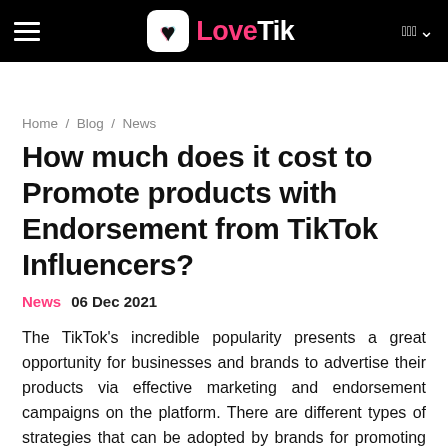LoveTik — navigation bar with hamburger menu and logo
Home / Blog / News
How much does it cost to Promote products with Endorsement from TikTok Influencers?
News   06 Dec 2021
The TikTok's incredible popularity presents a great opportunity for businesses and brands to advertise their products via effective marketing and endorsement campaigns on the platform. There are different types of strategies that can be adopted by brands for promoting their products or services on the social media platform. The influencer marketing is one of the latest types of